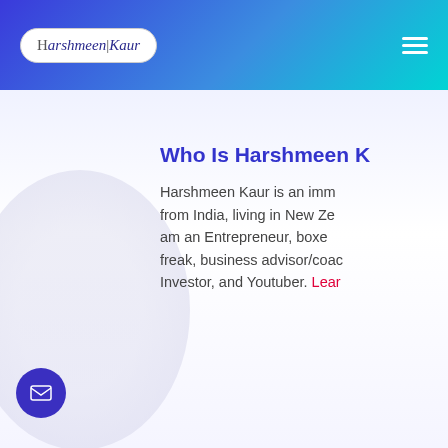Harshmeen Kaur [logo] | hamburger menu
Who Is Harshmeen K
Harshmeen Kaur is an imm from India, living in New Ze am an Entrepreneur, boxe freak, business advisor/coac Investor, and Youtuber. Lear